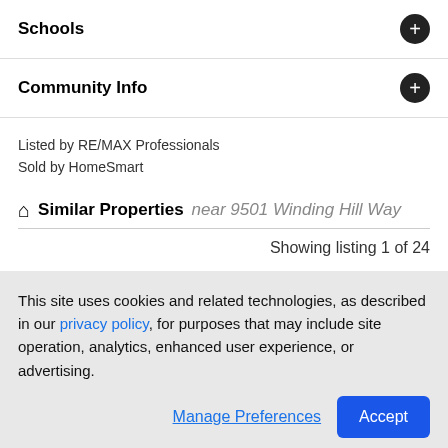Schools
Community Info
Listed by RE/MAX Professionals
Sold by HomeSmart
Similar Properties near 9501 Winding Hill Way
Showing listing 1 of 24
This site uses cookies and related technologies, as described in our privacy policy, for purposes that may include site operation, analytics, enhanced user experience, or advertising.
Manage Preferences
Accept